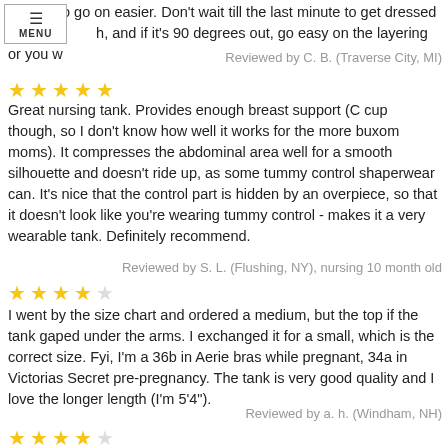helps it to go on easier. Don't wait till the last minute to get dressed e…h, and if it's 90 degrees out, go easy on the layering or you w…
Reviewed by C. B. (Traverse City, MI)
[Figure (other): 5 gold stars rating]
Great nursing tank. Provides enough breast support (C cup though, so I don't know how well it works for the more buxom moms). It compresses the abdominal area well for a smooth silhouette and doesn't ride up, as some tummy control shaperwear can. It's nice that the control part is hidden by an overpiece, so that it doesn't look like you're wearing tummy control - makes it a very wearable tank. Definitely recommend.
Reviewed by S. L. (Flushing, NY), nursing 10 month old
[Figure (other): 4 gold stars and 1 empty star rating]
I went by the size chart and ordered a medium, but the top if the tank gaped under the arms. I exchanged it for a small, which is the correct size. Fyi, I'm a 36b in Aerie bras while pregnant, 34a in Victorias Secret pre-pregnancy. The tank is very good quality and I love the longer length (I'm 5'4").
Reviewed by a. h. (Windham, NH)
[Figure (other): 4 gold stars and 1 empty star rating]